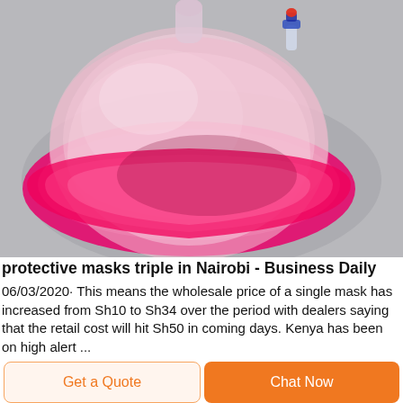[Figure (photo): Close-up photo of a transparent pink/clear medical oxygen face mask on a grey background. The mask has a round dome shape with a pink cushioned rim and a small red valve connector at the top.]
protective masks triple in Nairobi - Business Daily
06/03/2020· This means the wholesale price of a single mask has increased from Sh10 to Sh34 over the period with dealers saying that the retail cost will hit Sh50 in coming days. Kenya has been on high alert ...